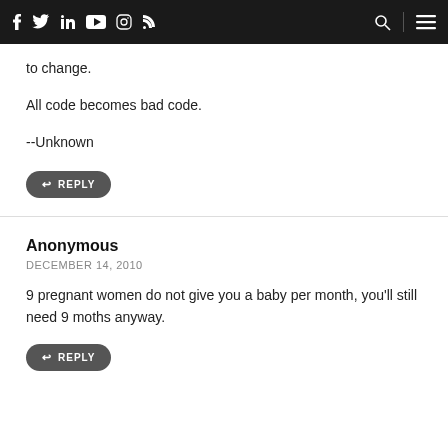Navigation bar with social icons (facebook, twitter, linkedin, youtube, instagram, rss) and search/menu icons
to change.
All code becomes bad code.
--Unknown
↩ REPLY
Anonymous
DECEMBER 14, 2010
9 pregnant women do not give you a baby per month, you'll still need 9 moths anyway.
↩ REPLY